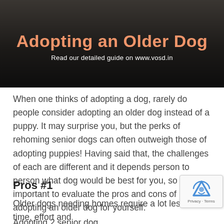[Figure (photo): Dark banner image featuring a dog in the background with orange title text 'Adopting an Older Dog' and subtitle 'Read our detailed guide on www.vosd.in' in white]
When one thinks of adopting a dog, rarely do people consider adopting an older dog instead of a puppy. It may surprise you, but the perks of rehoming senior dogs can often outweigh those of adopting puppies! Having said that, the challenges of each are different and it depends person to person what dog would be best for you, so it's important to evaluate the pros and cons of adopting an older dog for yourself.
Pros #1
Older dogs needing homes require a lot less time, effort and training as opposed to puppies.
Adopting a senior dog often means that the dog is...